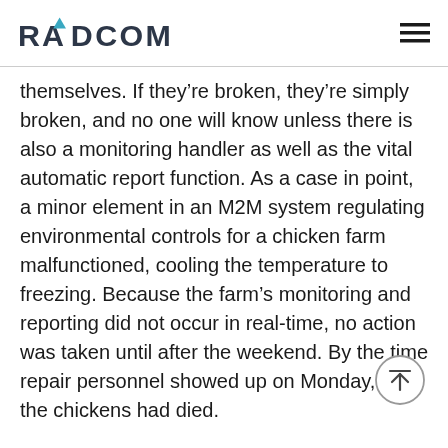RADCOM
themselves. If they're broken, they're simply broken, and no one will know unless there is also a monitoring handler as well as the vital automatic report function. As a case in point, a minor element in an M2M system regulating environmental controls for a chicken farm malfunctioned, cooling the temperature to freezing. Because the farm's monitoring and reporting did not occur in real-time, no action was taken until after the weekend. By the time repair personnel showed up on Monday, all the chickens had died.
It's also important to keep track of machine anomalies as an excellent proactive way to avoid issues. If you want to learn about it more optically...